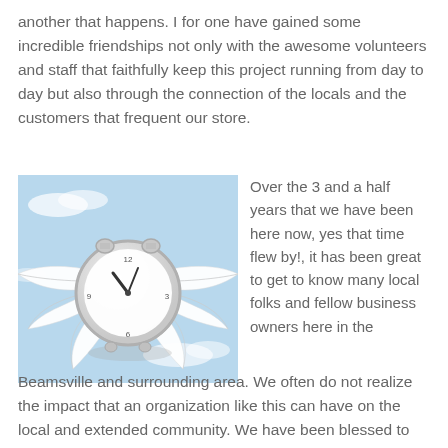another that happens. I for one have gained some incredible friendships not only with the awesome volunteers and staff that faithfully keep this project running from day to day but also through the connection of the locals and the customers that frequent our store.
[Figure (illustration): An illustration of an alarm clock with white angel wings, set against a light blue sky background with white clouds.]
Over the 3 and a half years that we have been here now, yes that time flew by!, it has been great to get to know many local folks and fellow business owners here in the Beamsville and surrounding area. We often do not realize the impact that an organization like this can have on the local and extended community. We have been blessed to hear some amazing stories from our customers who have